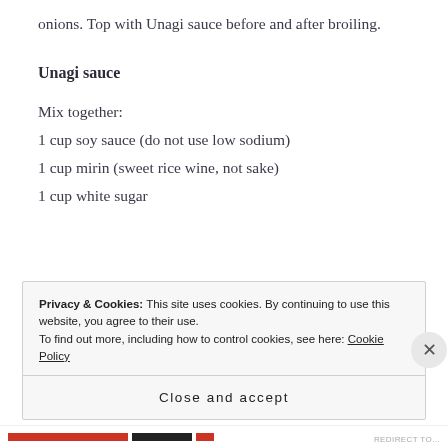onions. Top with Unagi sauce before and after broiling.
Unagi sauce
Mix together:
1 cup soy sauce (do not use low sodium)
1 cup mirin (sweet rice wine, not sake)
1 cup white sugar
Privacy & Cookies: This site uses cookies. By continuing to use this website, you agree to their use.
To find out more, including how to control cookies, see here: Cookie Policy
Close and accept